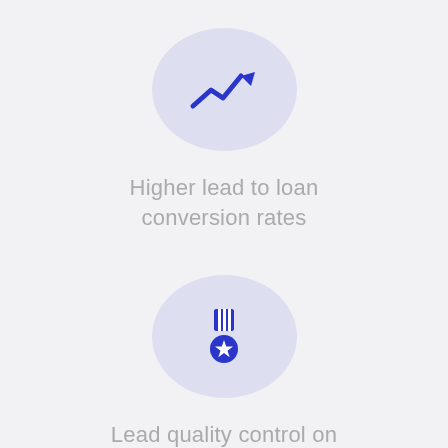[Figure (illustration): Light purple/lavender circle icon containing a blue upward trending arrow/chart line symbol]
Higher lead to loan conversion rates
[Figure (illustration): Light purple/lavender circle icon containing a blue military medal/badge symbol]
Lead quality control on